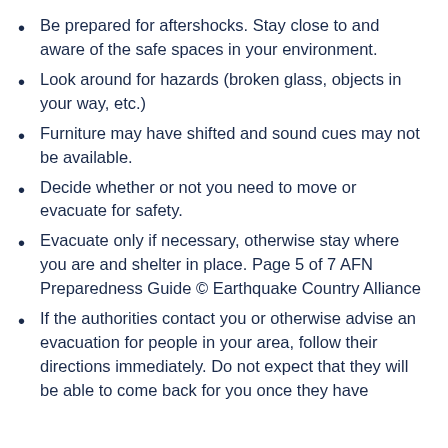Be prepared for aftershocks. Stay close to and aware of the safe spaces in your environment.
Look around for hazards (broken glass, objects in your way, etc.)
Furniture may have shifted and sound cues may not be available.
Decide whether or not you need to move or evacuate for safety.
Evacuate only if necessary, otherwise stay where you are and shelter in place. Page 5 of 7 AFN Preparedness Guide © Earthquake Country Alliance
If the authorities contact you or otherwise advise an evacuation for people in your area, follow their directions immediately. Do not expect that they will be able to come back for you once they have